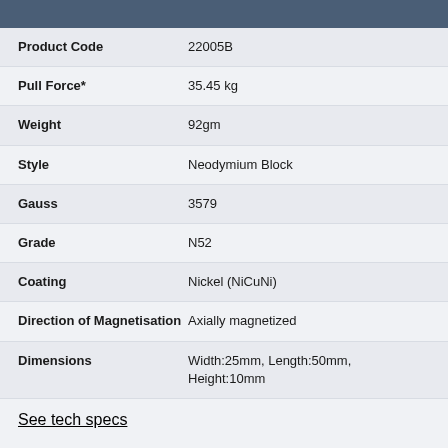| Property | Value |
| --- | --- |
| Product Code | 22005B |
| Pull Force* | 35.45 kg |
| Weight | 92gm |
| Style | Neodymium Block |
| Gauss | 3579 |
| Grade | N52 |
| Coating | Nickel (NiCuNi) |
| Direction of Magnetisation | Axially magnetized |
| Dimensions | Width:25mm, Length:50mm, Height:10mm |
See tech specs